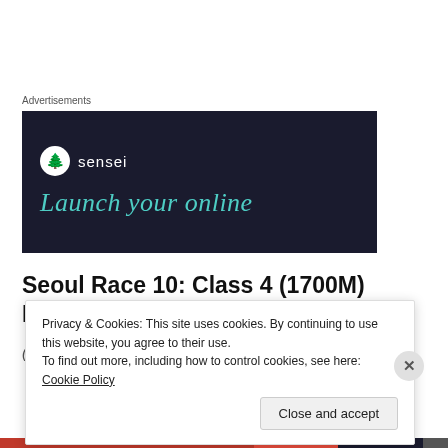Advertisements
[Figure (logo): Sensei advertisement banner with dark navy background, Sensei logo (tree icon in circle), and teal italic text reading 'Launch your online']
Seoul Race 10: Class 4 (1700M) Handicap / KRW 60 Million
(1) THE KING horse racing article partial text
Privacy & Cookies: This site uses cookies. By continuing to use this website, you agree to their use.
To find out more, including how to control cookies, see here: Cookie Policy
Close and accept